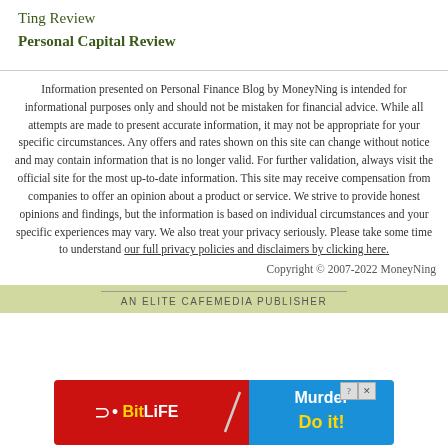Ting Review
Personal Capital Review
Information presented on Personal Finance Blog by MoneyNing is intended for informational purposes only and should not be mistaken for financial advice. While all attempts are made to present accurate information, it may not be appropriate for your specific circumstances. Any offers and rates shown on this site can change without notice and may contain information that is no longer valid. For further validation, always visit the official site for the most up-to-date information. This site may receive compensation from companies to offer an opinion about a product or service. We strive to provide honest opinions and findings, but the information is based on individual circumstances and your specific experiences may vary. We also treat your privacy seriously. Please take some time to understand our full privacy policies and disclaimers by clicking here.
Copyright © 2007-2022 MoneyNing
AN ELITE CAFEMEDIA PUBLISHER
[Figure (other): BitLife advertisement banner with 'Murder Do it!' text and close button]